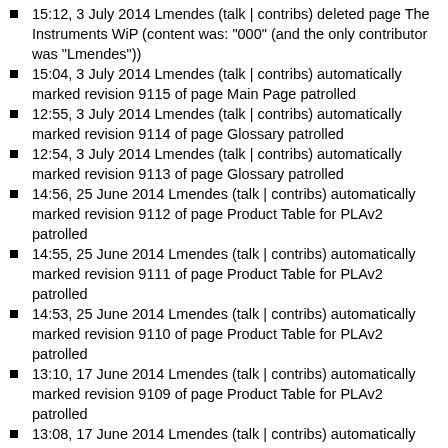15:12, 3 July 2014 Lmendes (talk | contribs) deleted page The Instruments WiP (content was: "000" (and the only contributor was "Lmendes"))
15:04, 3 July 2014 Lmendes (talk | contribs) automatically marked revision 9115 of page Main Page patrolled
12:55, 3 July 2014 Lmendes (talk | contribs) automatically marked revision 9114 of page Glossary patrolled
12:54, 3 July 2014 Lmendes (talk | contribs) automatically marked revision 9113 of page Glossary patrolled
14:56, 25 June 2014 Lmendes (talk | contribs) automatically marked revision 9112 of page Product Table for PLAv2 patrolled
14:55, 25 June 2014 Lmendes (talk | contribs) automatically marked revision 9111 of page Product Table for PLAv2 patrolled
14:53, 25 June 2014 Lmendes (talk | contribs) automatically marked revision 9110 of page Product Table for PLAv2 patrolled
13:10, 17 June 2014 Lmendes (talk | contribs) automatically marked revision 9109 of page Product Table for PLAv2 patrolled
13:08, 17 June 2014 Lmendes (talk | contribs) automatically marked revision 9108 of page Product Table for PLAv2 patrolled
13:07, 17 June 2014 Lmendes (talk | contribs) automatically marked revision 9107 of page Product Table for PLAv2